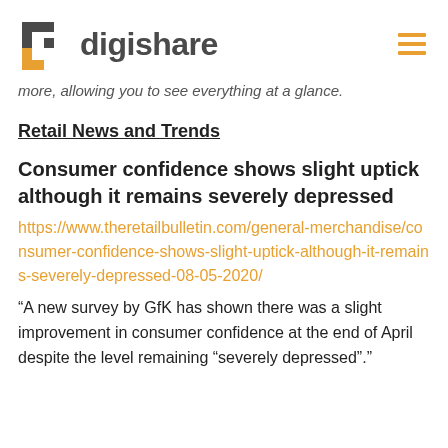digishare
more, allowing you to see everything at a glance.
Retail News and Trends
Consumer confidence shows slight uptick although it remains severely depressed
https://www.theretailbulletin.com/general-merchandise/consumer-confidence-shows-slight-uptick-although-it-remains-severely-depressed-08-05-2020/
“A new survey by GfK has shown there was a slight improvement in consumer confidence at the end of April despite the level remaining “severely depressed”.”